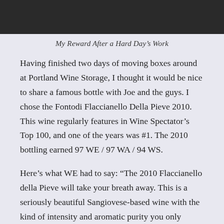[Figure (photo): A dark photograph showing wine storage boxes or shelving in dim lighting]
My Reward After a Hard Day's Work
Having finished two days of moving boxes around at Portland Wine Storage, I thought it would be nice to share a famous bottle with Joe and the guys. I chose the Fontodi Flaccianello Della Pieve 2010. This wine regularly features in Wine Spectator's Top 100, and one of the years was #1. The 2010 bottling earned 97 WE / 97 WA / 94 WS.
Here’s what WE had to say: “The 2010 Flaccianello della Pieve will take your breath away. This is a seriously beautiful Sangiovese-based wine with the kind of intensity and aromatic purity you only experience once a 1,000 vintages. The nose on this red is